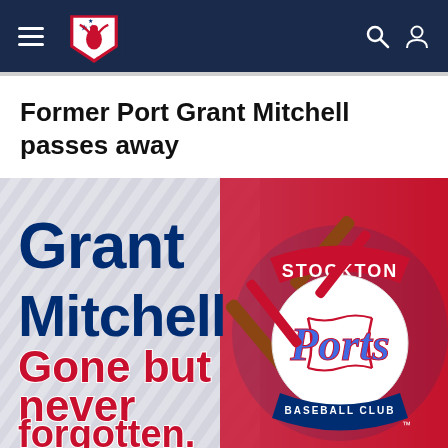Minor League Baseball navigation header
Former Port Grant Mitchell passes away
[Figure (illustration): Stockton Ports memorial graphic with text 'Grant Mitchell' in dark blue bold font on a diagonal-striped light background on the left, 'Gone but never forgotten.' in bold red with white outline at bottom left, and the Stockton Ports Baseball Club circular logo with crossed bats and baseball on the right side over a red background.]